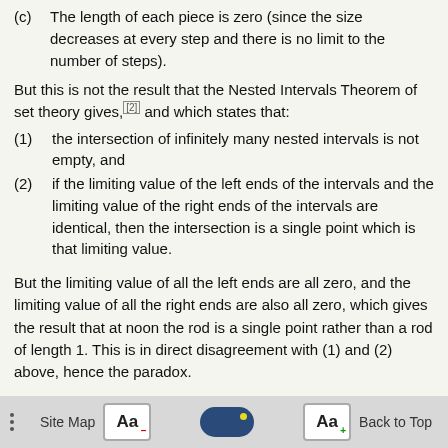(c) The length of each piece is zero (since the size decreases at every step and there is no limit to the number of steps).
But this is not the result that the Nested Intervals Theorem of set theory gives,[2] and which states that:
(1) the intersection of infinitely many nested intervals is not empty, and
(2) if the limiting value of the left ends of the intervals and the limiting value of the right ends of the intervals are identical, then the intersection is a single point which is that limiting value.
But the limiting value of all the left ends are all zero, and the limiting value of all the right ends are also all zero, which gives the result that at noon the rod is a single point rather than a rod of length 1. This is in direct disagreement with (1) and (2) above, hence the paradox.
Site Map  [Aa-]  [toggle]  [Aa+]  Back to Top